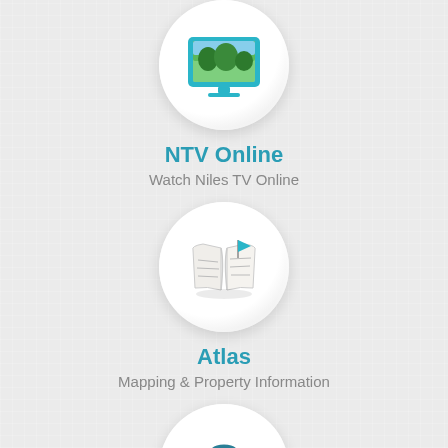[Figure (illustration): Circular icon showing a TV/monitor with a landscape image, teal border, on light gray circle background]
NTV Online
Watch Niles TV Online
[Figure (illustration): Circular icon showing an open map with a teal flag on top, on light gray circle background]
Atlas
Mapping & Property Information
[Figure (illustration): Circular icon showing a teal briefcase/portfolio bag, on light gray circle background]
Job Opportunities
Apply for employment